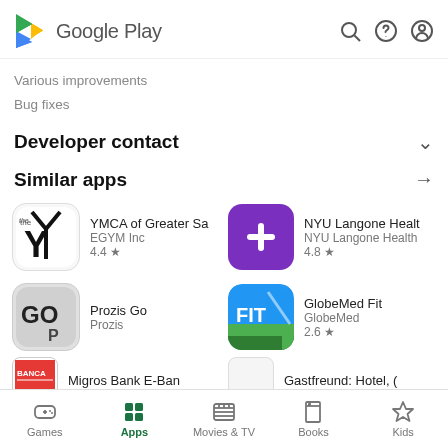[Figure (logo): Google Play header with logo, search, help, and account icons]
Various improvements
Bug fixes
Developer contact
Similar apps
[Figure (screenshot): YMCA of Greater Sa app icon - white background with YMCA Y logo]
YMCA of Greater Sa
EGYM Inc
4.4 ★
[Figure (screenshot): NYU Langone Health app icon - purple background with white plus sign]
NYU Langone Healt
NYU Langone Health
4.8 ★
[Figure (screenshot): Prozis Go app icon - gray background with GO P text]
Prozis Go
Prozis
[Figure (screenshot): GlobeMed Fit app icon - blue/green background with FIT text]
GlobeMed Fit
GlobeMed
2.6 ★
[Figure (screenshot): Migros Bank E-Ban app icon partial - BANCA label]
Migros Bank E-Ban
Gastfreund: Hotel, (
Games   Apps   Movies & TV   Books   Kids